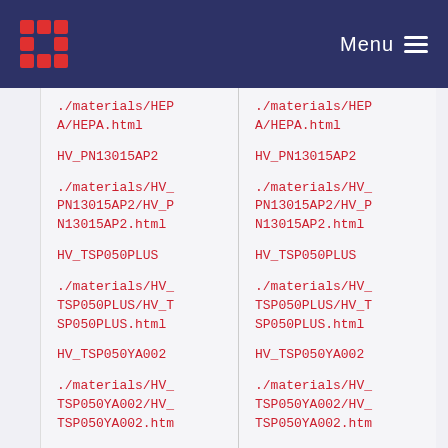Menu
./materials/HEPA/HEPA.html
HV_PN13015AP2
./materials/HV_PN13015AP2/HV_PN13015AP2.html
HV_TSP050PLUS
./materials/HV_TSP050PLUS/HV_TSP050PLUS.html
HV_TSP050YA002
./materials/HV_TSP050YA002/HV_TSP050YA002.html
./materials/HEPA/HEPA.html
HV_PN13015AP2
./materials/HV_PN13015AP2/HV_PN13015AP2.html
HV_TSP050PLUS
./materials/HV_TSP050PLUS/HV_TSP050PLUS.html
HV_TSP050YA002
./materials/HV_TSP050YA002/HV_TSP050YA002.html